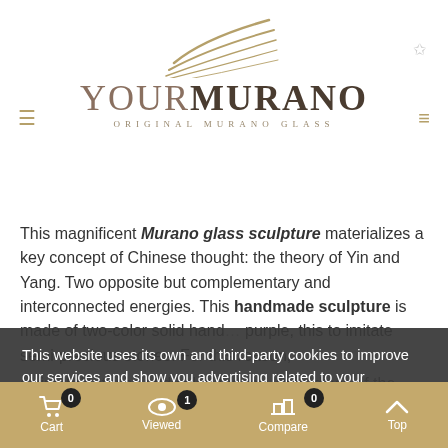DESCRIPTION
[Figure (logo): YourMurano logo with wing/feather graphic above, text YOURMURANO in large serif, subtitle ORIGINAL MURANO GLASS]
This magnificent Murano glass sculpture materializes a key concept of Chinese thought: the theory of Yin and Yang. Two opposite but complementary and interconnected energies. This handmade sculpture is made of two-color solid hand... purple, this to imitate semi-precious stones. For this reason,... giving brightness and color. Indeed, regardless of the place... to place on the reader, design celebrates strength, the
This website uses its own and third-party cookies to improve our services and show you advertising related to your preferences by analyzing your browsing habits. To give your consent to its use, press the Accept button.
MORE INFORMATION   CUSTOMIZE COOKIES
REJECT ALL
I ACCEPT
Cart 0   Viewed 1   Compare 0   Top